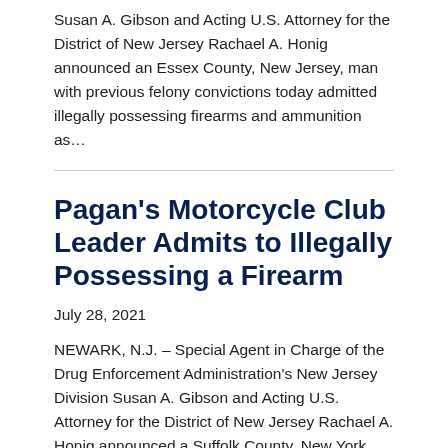Susan A. Gibson and Acting U.S. Attorney for the District of New Jersey Rachael A. Honig announced an Essex County, New Jersey, man with previous felony convictions today admitted illegally possessing firearms and ammunition as…
Pagan's Motorcycle Club Leader Admits to Illegally Possessing a Firearm
July 28, 2021
NEWARK, N.J. – Special Agent in Charge of the Drug Enforcement Administration's New Jersey Division Susan A. Gibson and Acting U.S. Attorney for the District of New Jersey Rachael A. Honig announced a Suffolk County, New York man admitted today to illegally possessing a firearm. Keith Richter, a/k/a